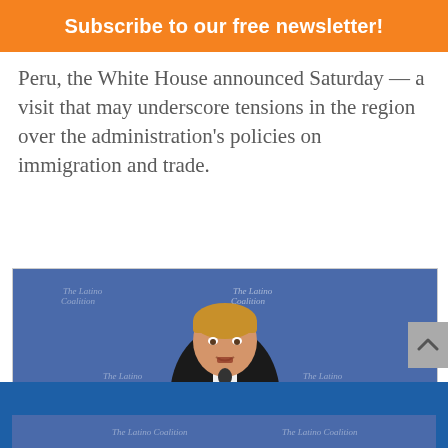Subscribe to our free newsletter!
Peru, the White House announced Saturday — a visit that may underscore tensions in the region over the administration’s policies on immigration and trade.
[Figure (photo): A man in a dark suit speaking at a podium with The Latino Coalition backdrop, arms extended outward, with a microphone in front of him.]
[Figure (photo): Partial view of a second photo showing a similar Latino Coalition event backdrop.]